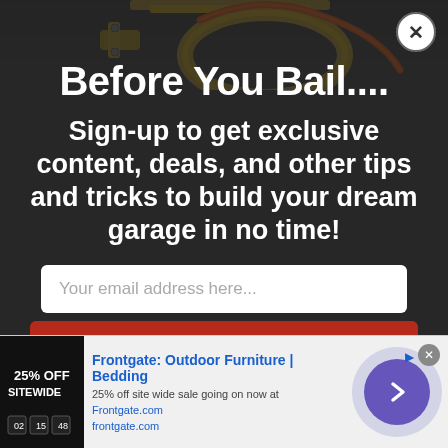[Figure (screenshot): Website popup modal overlay on a dark background showing a product page. Top area shows a partial product image of a golden hose reel clamp/bracket. A modal dialog is overlaid with title 'Before You Bail....', subtitle text about signing up, an email input field, and a red Sign Up button. Background shows partially visible article text about DeWalt. Bottom has an advertisement bar for Frontgate Outdoor Furniture showing 25% off sale.]
Before You Bail....
Sign-up to get exclusive content, deals, and other tips and tricks to build your dream garage in no time!
Your email address here...
✓ Sign Up
Frontgate: Outdoor Furniture | Bedding
25% off site wide sale going on now at Frontgate.com
frontgate.com